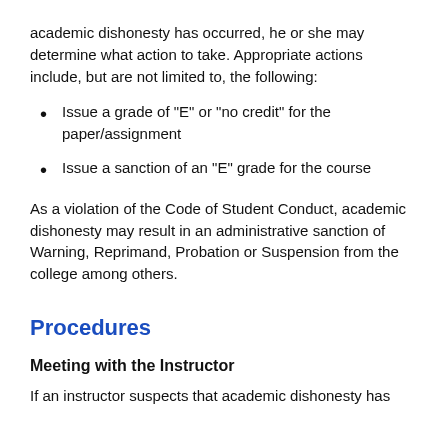academic dishonesty has occurred, he or she may determine what action to take. Appropriate actions include, but are not limited to, the following:
Issue a grade of "E" or "no credit" for the paper/assignment
Issue a sanction of an "E" grade for the course
As a violation of the Code of Student Conduct, academic dishonesty may result in an administrative sanction of Warning, Reprimand, Probation or Suspension from the college among others.
Procedures
Meeting with the Instructor
If an instructor suspects that academic dishonesty has